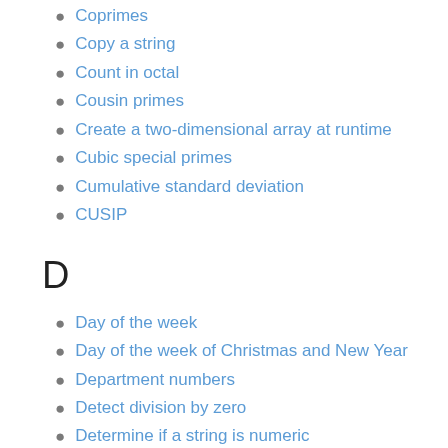Coprimes
Copy a string
Count in octal
Cousin primes
Create a two-dimensional array at runtime
Cubic special primes
Cumulative standard deviation
CUSIP
D
Day of the week
Day of the week of Christmas and New Year
Department numbers
Detect division by zero
Determine if a string is numeric
Determine if two triangles overlap
Digital root
Digital root/Multiplicative digital root
Disarium numbers
Discordian date
Doomsday rule
Dot product